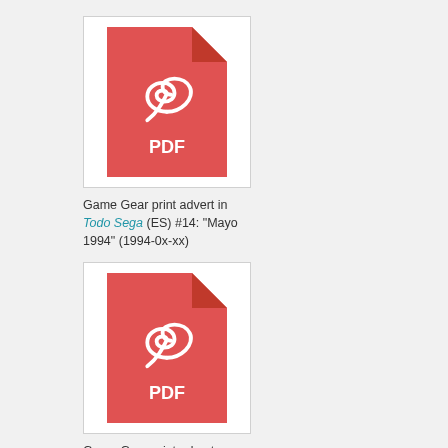[Figure (other): PDF file icon in red with white Adobe Acrobat logo and 'PDF' text]
Game Gear print advert in Todo Sega (ES) #14: "Mayo 1994" (1994-0x-xx)
[Figure (other): PDF file icon in red with white Adobe Acrobat logo and 'PDF' text]
Game Gear print advert